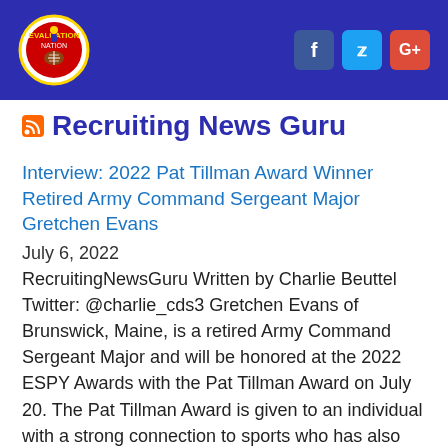Recruiting News Guru — header with logo and social icons (Facebook, Twitter, Google+)
Recruiting News Guru
Interview: 2022 Pat Tillman Award Winner Retired Army Command Sergeant Major Gretchen Evans
July 6, 2022
RecruitingNewsGuru Written by Charlie Beuttel Twitter: @charlie_cds3 Gretchen Evans of Brunswick, Maine, is a retired Army Command Sergeant Major and will be honored at the 2022 ESPY Awards with the Pat Tillman Award on July 20. The Pat Tillman Award is given to an individual with a strong connection to sports who has also served [...]
recruitingguru